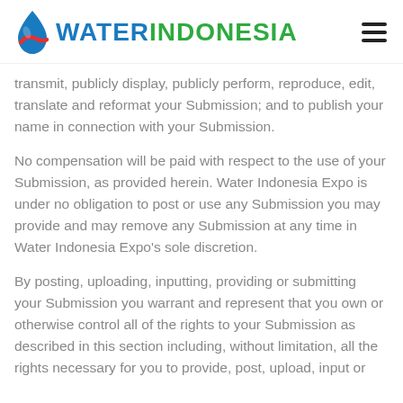WATER INDONESIA
transmit, publicly display, publicly perform, reproduce, edit, translate and reformat your Submission; and to publish your name in connection with your Submission.
No compensation will be paid with respect to the use of your Submission, as provided herein. Water Indonesia Expo is under no obligation to post or use any Submission you may provide and may remove any Submission at any time in Water Indonesia Expo's sole discretion.
By posting, uploading, inputting, providing or submitting your Submission you warrant and represent that you own or otherwise control all of the rights to your Submission as described in this section including, without limitation, all the rights necessary for you to provide, post, upload, input or